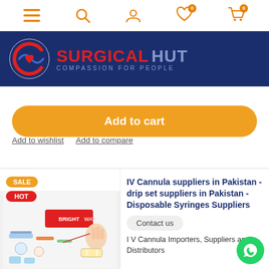Navigation bar with menu, search, account, wishlist (0), cart (0) icons
[Figure (logo): Surgical Hut logo with compass/heart icon, text 'SURGICAL HUT - COMPASSION FOR PEOPLE' on dark blue background]
Add to cart
Add to wishlist   Add to compare
[Figure (photo): Product card with SALE and HOT badges, image of medical/surgical supplies including IV cannulas, drip sets, syringes with BrightWay branding]
IV Cannula suppliers in Pakistan - drip set suppliers in Pakistan - Disposable Syringes Suppliers
Contact us
I V Cannula Importers, Suppliers and Distributors